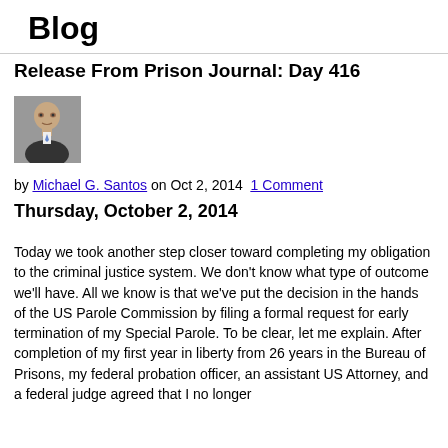Blog
Release From Prison Journal: Day 416
[Figure (photo): Headshot of Michael G. Santos, a man in a dark suit]
by Michael G. Santos on Oct 2, 2014 1 Comment
Thursday, October 2, 2014
Today we took another step closer toward completing my obligation to the criminal justice system. We don't know what type of outcome we'll have. All we know is that we've put the decision in the hands of the US Parole Commission by filing a formal request for early termination of my Special Parole. To be clear, let me explain. After completion of my first year in liberty from 26 years in the Bureau of Prisons, my federal probation officer, an assistant US Attorney, and a federal judge agreed that I no longer